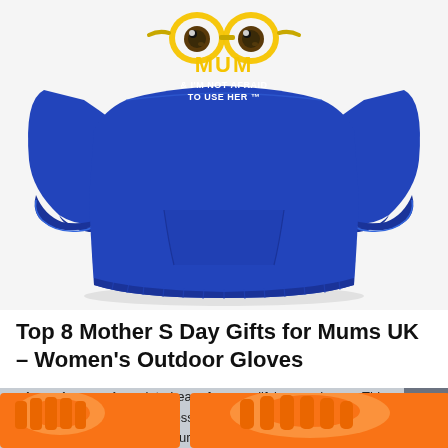[Figure (photo): Blue sweatshirt/hoodie with minion-style cartoon eyes and text reading 'MUM & I'M NOT AFRAID TO USE HER' in yellow and white, on a white/light grey background]
Top 8 Mother S Day Gifts for Mums UK – Women's Outdoor Gloves
As an Amazon Associate I earn from qualifying purchases. This website uses the only necessary cookies to ensure you get the best experience on our website. More information
[Figure (photo): Partial view of orange product items at the bottom of the page (gloves or similar)]